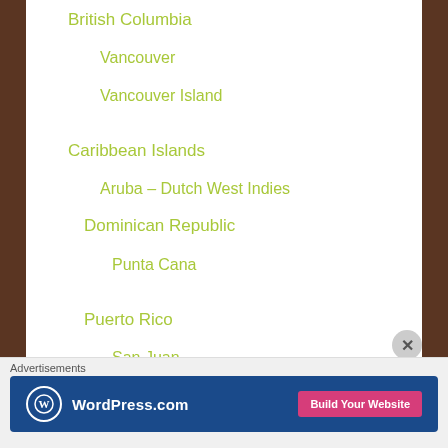British Columbia
Vancouver
Vancouver Island
Caribbean Islands
Aruba – Dutch West Indies
Dominican Republic
Punta Cana
Puerto Rico
San Juan
Costa Rica
Advertisements
[Figure (screenshot): WordPress.com advertisement banner with blue background, WordPress logo, and 'Build Your Website' pink button]